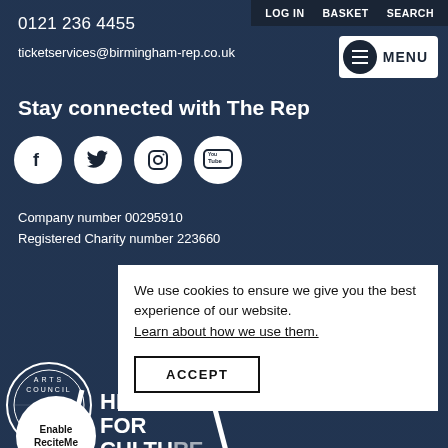LOG IN   BASKET   SEARCH
0121 236 4455
ticketservices@birmingham-rep.co.uk
Stay connected with The Rep
[Figure (other): Social media icons: Facebook, Twitter, Instagram, YouTube]
Company number 00295910
Registered Charity number 223660
We use cookies to ensure we give you the best experience of our website. Learn about how we use them.
ACCEPT
[Figure (logo): Arts Council England circular logo]
Enable
ReciteMe
HERE
FOR
CULTURE